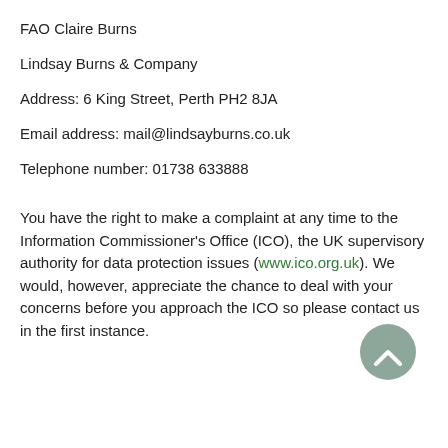FAO Claire Burns
Lindsay Burns & Company
Address: 6 King Street, Perth PH2 8JA
Email address: mail@lindsayburns.co.uk
Telephone number: 01738 633888
You have the right to make a complaint at any time to the Information Commissioner's Office (ICO), the UK supervisory authority for data protection issues (www.ico.org.uk). We would, however, appreciate the chance to deal with your concerns before you approach the ICO so please contact us in the first instance.